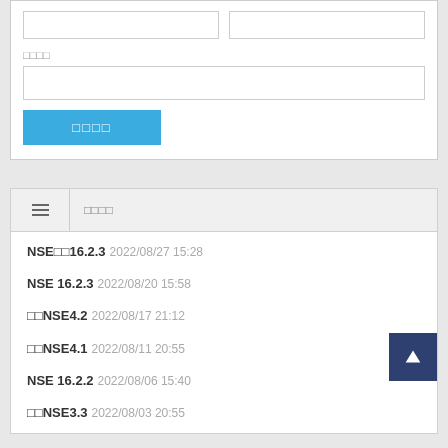[Figure (screenshot): Two empty text input boxes side by side at the top of a form panel]
□□□□
[Figure (screenshot): A full-width empty text input box]
[Figure (screenshot): A blue submit button with label □□□□]
□□□□
NSE□□16.2.3 2022/08/27 15:28
NSE 16.2.3 2022/08/20 15:58
□□NSE4.2 2022/08/17 21:12
□□NSE4.1 2022/08/11 20:55
NSE 16.2.2 2022/08/06 15:40
□□NSE3.3 2022/08/03 20:55